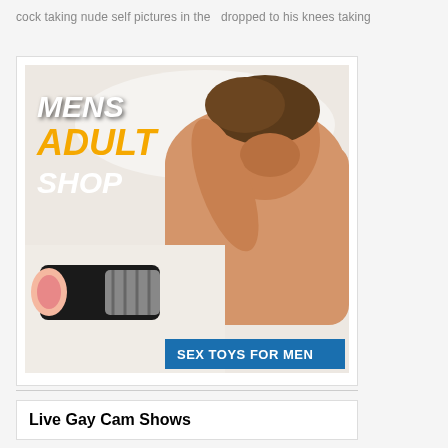cock taking nude self pictures in the   dropped to his knees taking
[Figure (advertisement): Mens Adult Shop advertisement showing a man lying on white bedding with a sex toy product. Text overlay reads MENS ADULT SHOP in white and orange italic letters. Blue banner at bottom reads SEX TOYS FOR MEN.]
Live Gay Cam Shows